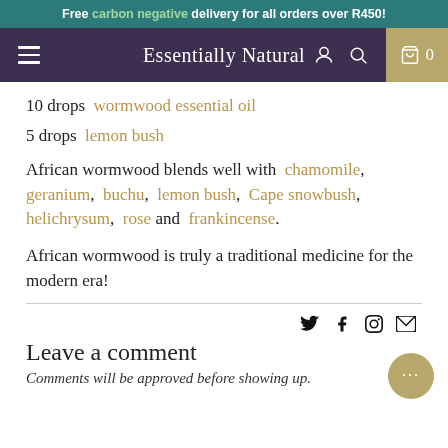Free carbon negative delivery for all orders over R450!
Essentially Natural  0
10 drops  wormwood essential oil
5 drops  lemon bush
African wormwood blends well with chamomile, geranium, buchu, lemon bush, Cape snowbush, helichrysum, rose and frankincense.
African wormwood is truly a traditional medicine for the modern era!
Leave a comment
Comments will be approved before showing up.